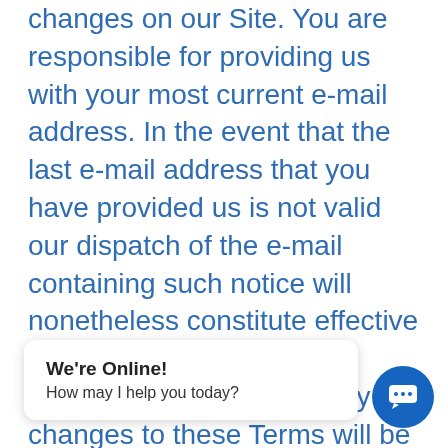changes on our Site. You are responsible for providing us with your most current e-mail address. In the event that the last e-mail address that you have provided us is not valid our dispatch of the e-mail containing such notice will nonetheless constitute effective notice of the changes described in the notice. Any changes to these Terms will be effective upon the earliest of thirty (30) calendar days following our dispatch of an e-mail notice to you or thirty (30) calendar days following our posting of notice of the changes on our Site. These changes will be effective immediately for new users of our Site. Continued use of our Site fo... changes s... acknowledgement of such
We're Online!
How may I help you today?